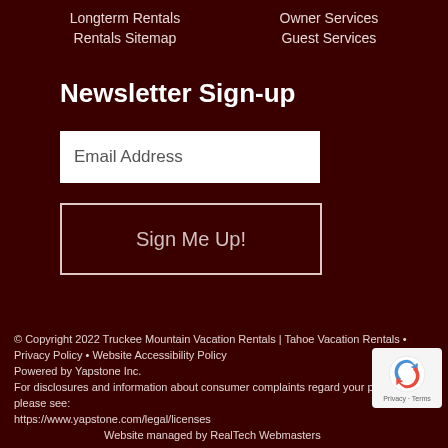Longterm Rentals
Rentals Sitemap
Owner Services
Guest Services
Newsletter Sign-up
Email Address
Sign Me Up!
© Copyright 2022 Truckee Mountain Vacation Rentals | Tahoe Vacation Rentals • Privacy Policy • Website Accessibility Policy
Powered by Yapstone Inc.
For disclosures and information about consumer complaints regarding your payments, please see:
https://www.yapstone.com/legal/licenses
Website managed by RealTech Webmasters